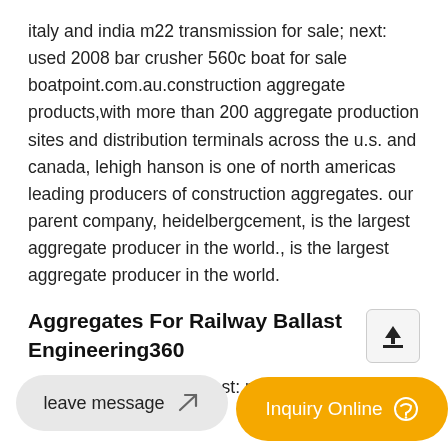italy and india m22 transmission for sale; next: used 2008 bar crusher 560c boat for sale boatpoint.com.au.construction aggregate products,with more than 200 aggregate production sites and distribution terminals across the u.s. and canada, lehigh hanson is one of north americas leading producers of construction aggregates. our parent company, heidelbergcement, is the largest aggregate producer in the world., is the largest aggregate producer in the world.
Aggregates For Railway Ballast Engineering360
note reused railway ballast: railway ballast resulting
european standard, it also